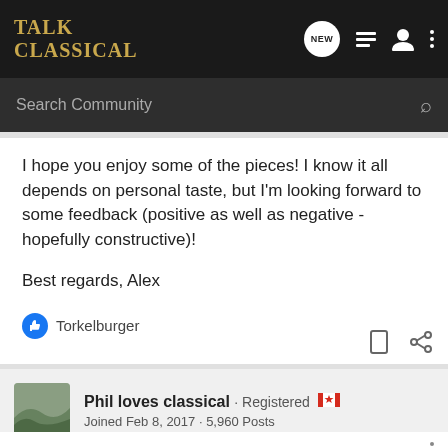Talk Classical
I hope you enjoy some of the pieces! I know it all depends on personal taste, but I'm looking forward to some feedback (positive as well as negative - hopefully constructive)!

Best regards, Alex
Torkelburger
Phil loves classical · Registered · Joined Feb 8, 2017 · 5,960 Posts
#2 · Jan 11, 2022